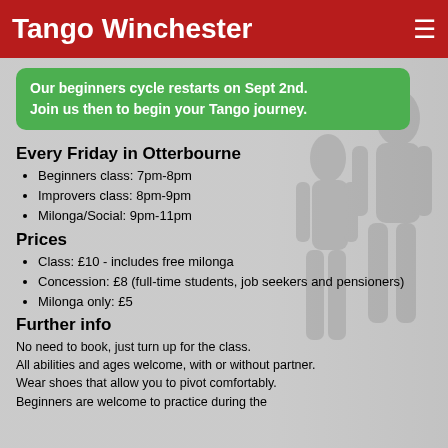Tango Winchester
Our beginners cycle restarts on Sept 2nd. Join us then to begin your Tango journey.
Every Friday in Otterbourne
Beginners class: 7pm-8pm
Improvers class: 8pm-9pm
Milonga/Social: 9pm-11pm
Prices
Class: £10 - includes free milonga
Concession: £8 (full-time students, job seekers and pensioners)
Milonga only: £5
Further info
No need to book, just turn up for the class. All abilities and ages welcome, with or without partner. Wear shoes that allow you to pivot comfortably. Beginners are welcome to practice during the